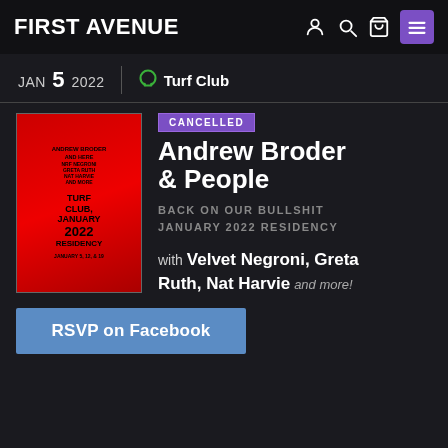FIRST AVENUE
JAN 5 2022 | Turf Club
[Figure (photo): Red promotional poster for the event, showing text about the Turf Club January 2022 Residency event.]
CANCELLED
Andrew Broder & People
BACK ON OUR BULLSHIT JANUARY 2022 RESIDENCY
with Velvet Negroni, Greta Ruth, Nat Harvie and more!
RSVP on Facebook